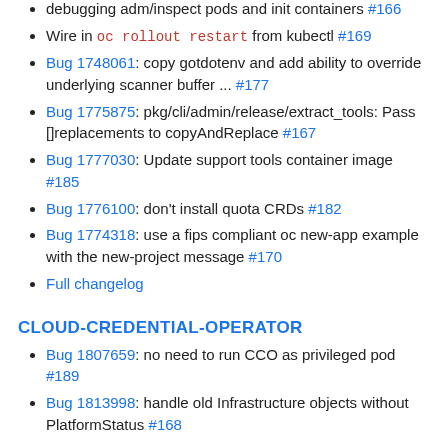debugging adm/inspect pods and init containers #166
Wire in oc rollout restart from kubectl #169
Bug 1748061: copy gotdotenv and add ability to override underlying scanner buffer ... #177
Bug 1775875: pkg/cli/admin/release/extract_tools: Pass []replacements to copyAndReplace #167
Bug 1777030: Update support tools container image #185
Bug 1776100: don't install quota CRDs #182
Bug 1774318: use a fips compliant oc new-app example with the new-project message #170
Full changelog
CLOUD-CREDENTIAL-OPERATOR
Bug 1807659: no need to run CCO as privileged pod #189
Bug 1813998: handle old Infrastructure objects without PlatformStatus #168